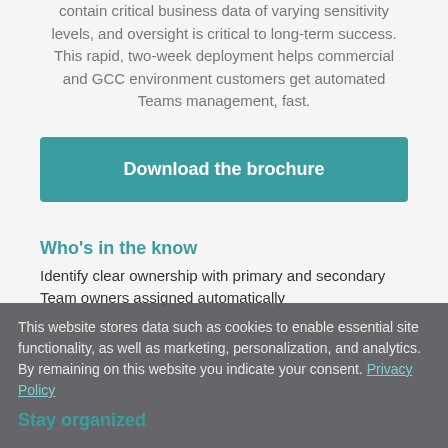contain critical business data of varying sensitivity levels, and oversight is critical to long-term success. This rapid, two-week deployment helps commercial and GCC environment customers get automated Teams management, fast.
Download the brochure
Who's in the know
Identify clear ownership with primary and secondary Team owners assigned automatically
This website stores data such as cookies to enable essential site functionality, as well as marketing, personalization, and analytics. By remaining on this website you indicate your consent. Privacy Policy
Stay organized